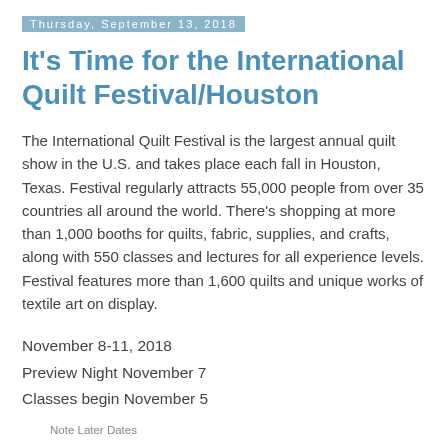Thursday, September 13, 2018
It's Time for the International Quilt Festival/Houston
The International Quilt Festival is the largest annual quilt show in the U.S. and takes place each fall in Houston, Texas. Festival regularly attracts 55,000 people from over 35 countries all around the world. There's shopping at more than 1,000 booths for quilts, fabric, supplies, and crafts, along with 550 classes and lectures for all experience levels. Festival features more than 1,600 quilts and unique works of textile art on display.
November 8-11, 2018
Preview Night November 7
Classes begin November 5
Note Later Dates
George R. Brown Convention Center
1001 Avenida de las Americas
Houston, Texas  77010